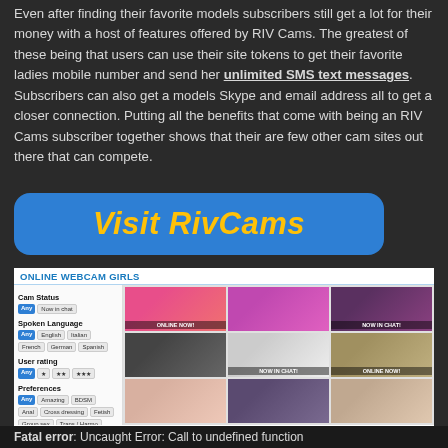Even after finding their favorite models subscribers still get a lot for their money with a host of features offered by RIV Cams. The greatest of these being that users can use their site tokens to get their favorite ladies mobile number and send her unlimited SMS text messages. Subscribers can also get a models Skype and email address all to get a closer connection. Putting all the benefits that come with being an RIV Cams subscriber together shows that their are few other cam sites out there that can compete.
[Figure (other): Blue rounded button with yellow italic bold text reading 'Visit RivCams']
[Figure (screenshot): Screenshot of RivCams website showing 'ONLINE WEBCAM GIRLS' header, a sidebar with filters (Cam Status, Spoken Language, User rating, Preferences, Age) and a 3x3 grid of model thumbnail images with labels like 'ONLINE NOW!' and 'NOW IN CHAT!']
Fatal error: Uncaught Error: Call to undefined function